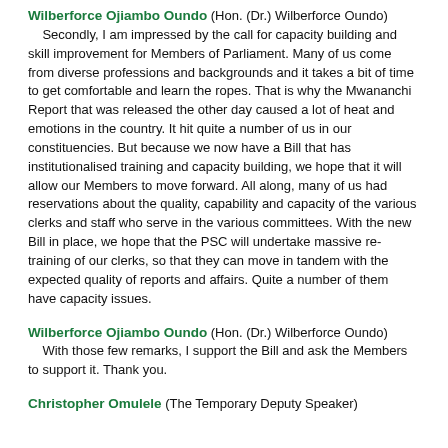Wilberforce Ojiambo Oundo (Hon. (Dr.) Wilberforce Oundo) Secondly, I am impressed by the call for capacity building and skill improvement for Members of Parliament. Many of us come from diverse professions and backgrounds and it takes a bit of time to get comfortable and learn the ropes. That is why the Mwananchi Report that was released the other day caused a lot of heat and emotions in the country. It hit quite a number of us in our constituencies. But because we now have a Bill that has institutionalised training and capacity building, we hope that it will allow our Members to move forward. All along, many of us had reservations about the quality, capability and capacity of the various clerks and staff who serve in the various committees. With the new Bill in place, we hope that the PSC will undertake massive re-training of our clerks, so that they can move in tandem with the expected quality of reports and affairs. Quite a number of them have capacity issues.
Wilberforce Ojiambo Oundo (Hon. (Dr.) Wilberforce Oundo) With those few remarks, I support the Bill and ask the Members to support it. Thank you.
Christopher Omulele (The Temporary Deputy Speaker)